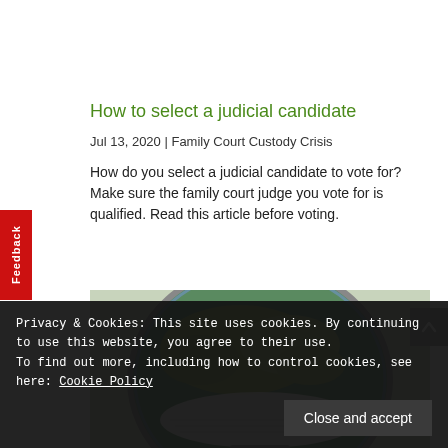How to select a judicial candidate
Jul 13, 2020 | Family Court Custody Crisis
How do you select a judicial candidate to vote for? Make sure the family court judge you vote for is qualified. Read this article before voting.
[Figure (photo): Close-up photo of a globe showing Europe and surrounding regions, with a white face mask draped over it.]
Privacy & Cookies: This site uses cookies. By continuing to use this website, you agree to their use.
To find out more, including how to control cookies, see here: Cookie Policy
Close and accept